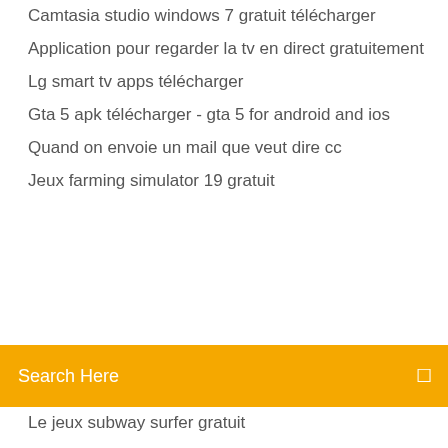Camtasia studio windows 7 gratuit télécharger
Application pour regarder la tv en direct gratuitement
Lg smart tv apps télécharger
Gta 5 apk télécharger - gta 5 for android and ios
Quand on envoie un mail que veut dire cc
Jeux farming simulator 19 gratuit
Search Here
Le jeux subway surfer gratuit
Comment effacer le cache google chrome
Adobe photoshop latest version télécharger
Mx player windows 10 laptop
Telecharger jeux pinball 3d gratuit
Google traduction français chinois simplifié
Hp deskjet 2050 driver win 10
Gif to video converter hd
Pictogramme pecs gratuit à télécharger
Lg smart tv apps télécharger